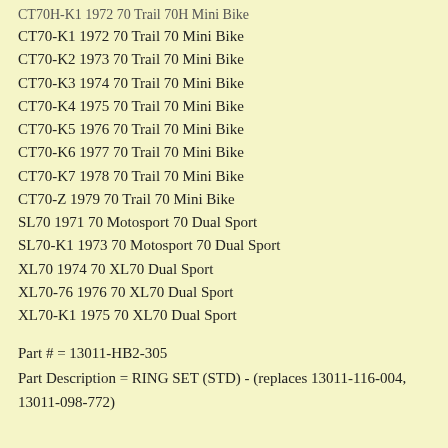CT70H-K1 1972 70 Trail 70H Mini Bike
CT70-K1 1972 70 Trail 70 Mini Bike
CT70-K2 1973 70 Trail 70 Mini Bike
CT70-K3 1974 70 Trail 70 Mini Bike
CT70-K4 1975 70 Trail 70 Mini Bike
CT70-K5 1976 70 Trail 70 Mini Bike
CT70-K6 1977 70 Trail 70 Mini Bike
CT70-K7 1978 70 Trail 70 Mini Bike
CT70-Z 1979 70 Trail 70 Mini Bike
SL70 1971 70 Motosport 70 Dual Sport
SL70-K1 1973 70 Motosport 70 Dual Sport
XL70 1974 70 XL70 Dual Sport
XL70-76 1976 70 XL70 Dual Sport
XL70-K1 1975 70 XL70 Dual Sport
Part # = 13011-HB2-305
Part Description = RING SET (STD) - (replaces 13011-116-004, 13011-098-772)